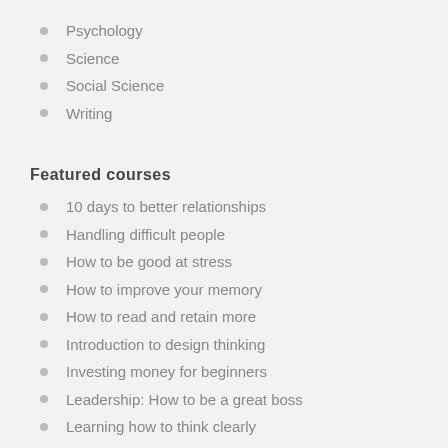Psychology
Science
Social Science
Writing
Featured courses
10 days to better relationships
Handling difficult people
How to be good at stress
How to improve your memory
How to read and retain more
Introduction to design thinking
Investing money for beginners
Leadership: How to be a great boss
Learning how to think clearly
Negotiation skills
Overcoming mindless negativity
Understanding meditation